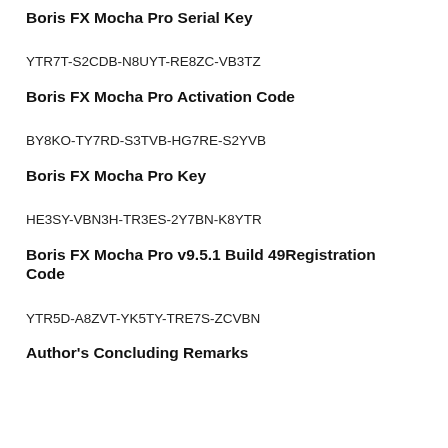Boris FX Mocha Pro Serial Key
YTR7T-S2CDB-N8UYT-RE8ZC-VB3TZ
Boris FX Mocha Pro Activation Code
BY8KO-TY7RD-S3TVB-HG7RE-S2YVB
Boris FX Mocha Pro Key
HE3SY-VBN3H-TR3ES-2Y7BN-K8YTR
Boris FX Mocha Pro v9.5.1 Build 49Registration Code
YTR5D-A8ZVT-YK5TY-TRE7S-ZCVBN
Author's Concluding Remarks